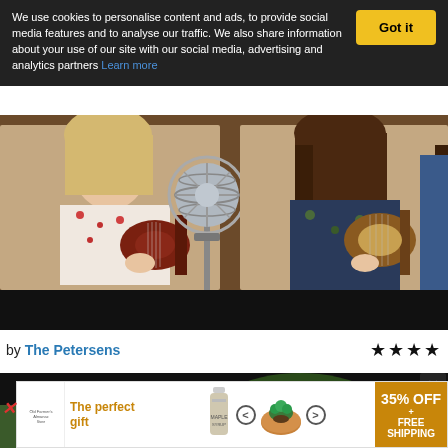We use cookies to personalise content and ads, to provide social media features and to analyse our traffic. We also share information about your use of our site with our social media, advertising and analytics partners Learn more
[Figure (photo): Two young women playing mandolin and banjo/fiddle instruments in front of a vintage microphone, indoor music session setting]
by The Petersens ★★★★
[Figure (photo): Second video thumbnail showing musicians outdoors with dark top bar]
[Figure (other): Advertisement banner: The perfect gift, 35% OFF + FREE SHIPPING]